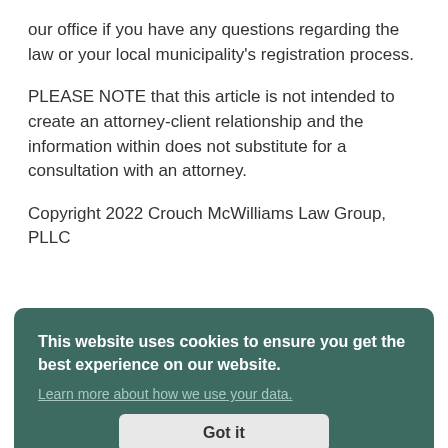our office if you have any questions regarding the law or your local municipality's registration process.
PLEASE NOTE that this article is not intended to create an attorney-client relationship and the information within does not substitute for a consultation with an attorney.
Copyright 2022 Crouch McWilliams Law Group, PLLC
This website uses cookies to ensure you get the best experience on our website.
Learn more about how we use your data.
Got it
Share This Story, Choose Your Platform!